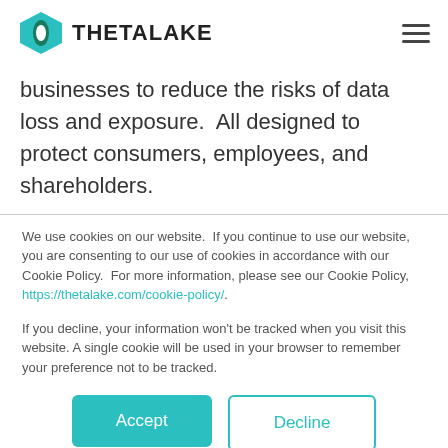THETALAKE
businesses to reduce the risks of data loss and exposure.  All designed to protect consumers, employees, and shareholders.
We use cookies on our website.  If you continue to use our website, you are consenting to our use of cookies in accordance with our Cookie Policy.  For more information, please see our Cookie Policy, https://thetalake.com/cookie-policy/.
If you decline, your information won’t be tracked when you visit this website. A single cookie will be used in your browser to remember your preference not to be tracked.
Accept
Decline